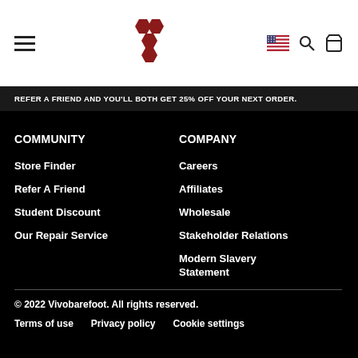Vivobarefoot navigation header with hamburger menu, logo, flag, search, and cart icons
REFER A FRIEND AND YOU'LL BOTH GET 25% OFF YOUR NEXT ORDER.
COMMUNITY
Store Finder
Refer A Friend
Student Discount
Our Repair Service
COMPANY
Careers
Affiliates
Wholesale
Stakeholder Relations
Modern Slavery Statement
© 2022 Vivobarefoot. All rights reserved.
Terms of use   Privacy policy   Cookie settings